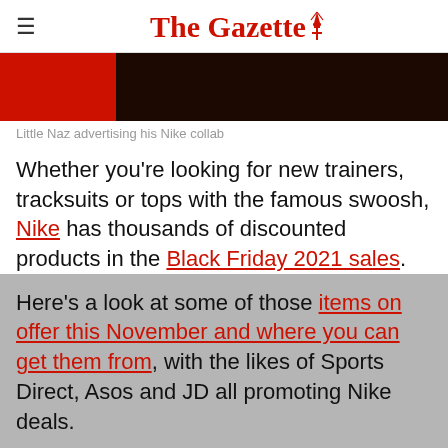The Gazette
[Figure (photo): Photo of Little Naz advertising his Nike collab — dark background with red accent on left side]
Little Naz advertising his Nike collab
Whether you're looking for new trainers, tracksuits or tops with the famous swoosh, Nike has thousands of discounted products in the Black Friday 2021 sales.
Here's a look at some of those items on offer this November and where you can get them from, with the likes of Sports Direct, Asos and JD all promoting Nike deals.